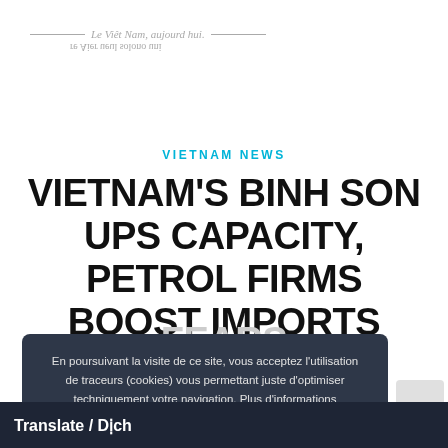Le Viêt Nam, aujourd hui. / re Aier ueul solono uni
VIETNAM NEWS
VIETNAM'S BINH SON UPS CAPACITY, PETROL FIRMS BOOST IMPORTS AMID SHUTDOWN FEARS
En poursuivant la visite de ce site, vous acceptez l'utilisation de traceurs (cookies) vous permettant juste d'optimiser techniquement votre navigation. Plus d'informations
Accepter
Translate / Dịch
nery on Wednesday said it was